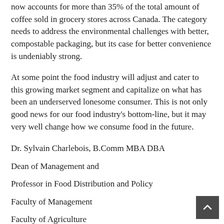now accounts for more than 35% of the total amount of coffee sold in grocery stores across Canada. The category needs to address the environmental challenges with better, compostable packaging, but its case for better convenience is undeniably strong.
At some point the food industry will adjust and cater to this growing market segment and capitalize on what has been an underserved lonesome consumer. This is not only good news for our food industry's bottom-line, but it may very well change how we consume food in the future.
Dr. Sylvain Charlebois, B.Comm MBA DBA
Dean of Management and
Professor in Food Distribution and Policy
Faculty of Management
Faculty of Agriculture